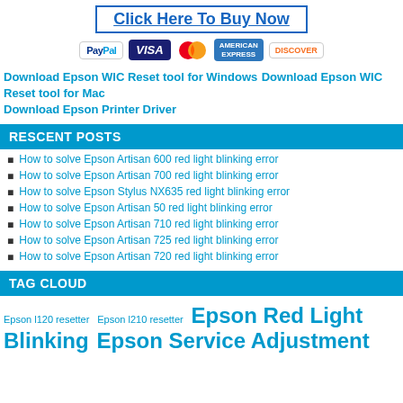Click Here To Buy Now
[Figure (other): Payment method icons: PayPal, Visa, Mastercard, American Express, Discover]
Download Epson WIC Reset tool for Windows Download Epson WIC Reset tool for Mac Download Epson Printer Driver
RESCENT POSTS
How to solve Epson Artisan 600 red light blinking error
How to solve Epson Artisan 700 red light blinking error
How to solve Epson Stylus NX635 red light blinking error
How to solve Epson Artisan 50 red light blinking error
How to solve Epson Artisan 710 red light blinking error
How to solve Epson Artisan 725 red light blinking error
How to solve Epson Artisan 720 red light blinking error
TAG CLOUD
Epson l120 resetter Epson l210 resetter Epson Red Light Blinking Epson Service Adjustment Reset Epson Reset